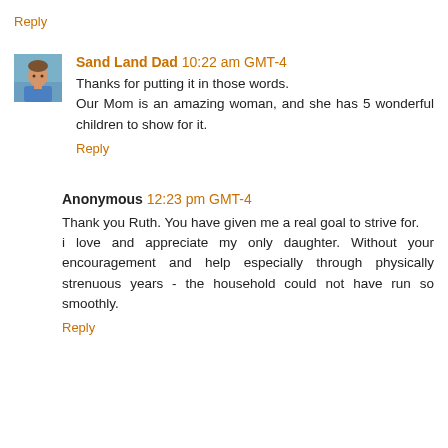Reply
Sand Land Dad  10:22 am GMT-4
Thanks for putting it in those words.
Our Mom is an amazing woman, and she has 5 wonderful children to show for it.
Reply
Anonymous  12:23 pm GMT-4
Thank you Ruth. You have given me a real goal to strive for.
i love and appreciate my only daughter. Without your encouragement and help especially through physically strenuous years - the household could not have run so smoothly.
Reply